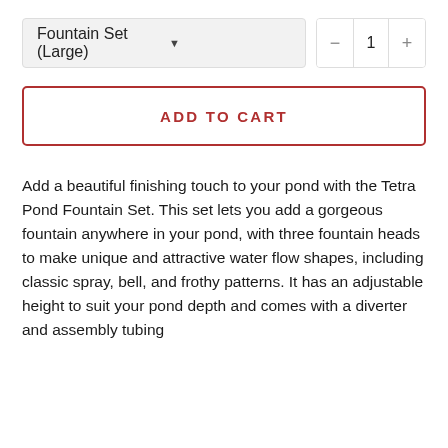[Figure (screenshot): Dropdown selector showing 'Fountain Set (Large)' with a quantity stepper showing minus, 1, plus controls]
[Figure (screenshot): ADD TO CART button with red border and red text on white background]
Add a beautiful finishing touch to your pond with the Tetra Pond Fountain Set. This set lets you add a gorgeous fountain anywhere in your pond, with three fountain heads to make unique and attractive water flow shapes, including classic spray, bell, and frothy patterns. It has an adjustable height to suit your pond depth and comes with a diverter and assembly tubing